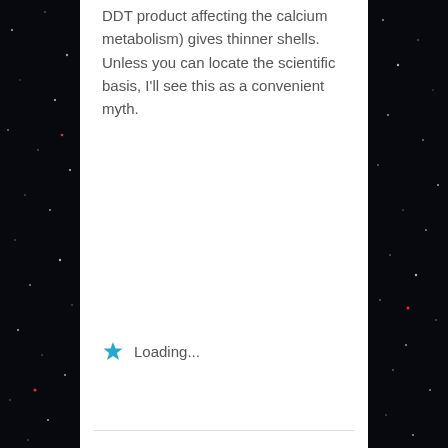DDT product affecting the calcium metabolism) gives thinner shells. Unless you can locate the scientific basis, I'll see this as a convenient myth.
Loading...
marinecreature
21/01/2017 at 20:10
I found an interesting article that listed a great number of studies claiming to show that DDT did not cause eggshell thinning, and that the Peregrine Falcon